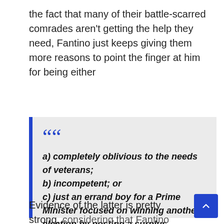the fact that many of their battle-scarred comrades aren't getting the help they need, Fantino just keeps giving them more reasons to point the finger at him for being either
a) completely oblivious to the needs of veterans; b) incompetent; or c) just an errand boy for a Prime Minister focused on winning another election by posting a surplus.
Evidence of the latter is pretty strong, considering that Fantino was closing down